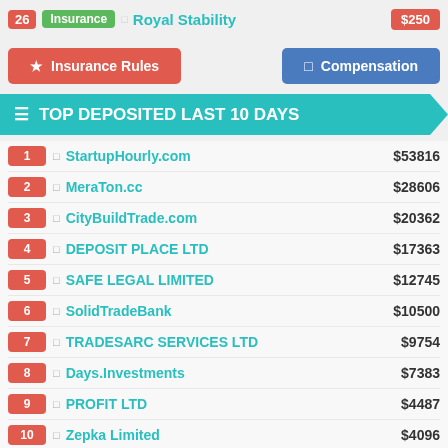26 Insurance Royal Stability $250
Insurance Rules
Compensation
TOP DEPOSITED LAST 10 DAYS
1 StartupHourly.com $53816
2 MeraTon.cc $28606
3 CityBuildTrade.com $20362
4 DEPOSIT PLACE LTD $17363
5 SAFE LEGAL LIMITED $12745
6 SolidTradeBank $10500
7 TRADESARC SERVICES LTD $9754
8 Days.Investments $7383
9 PROFIT LTD $4487
10 Zepka Limited $4096
11 DAILY $2654
12 Royal Stability $2609
13 Astoro.io $2405